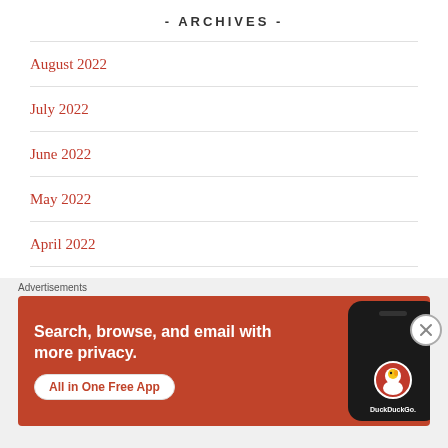- ARCHIVES -
August 2022
July 2022
June 2022
May 2022
April 2022
March 2022
Advertisements
[Figure (illustration): DuckDuckGo advertisement banner showing text 'Search, browse, and email with more privacy. All in One Free App' with a phone mockup and DuckDuckGo logo on an orange-red background]